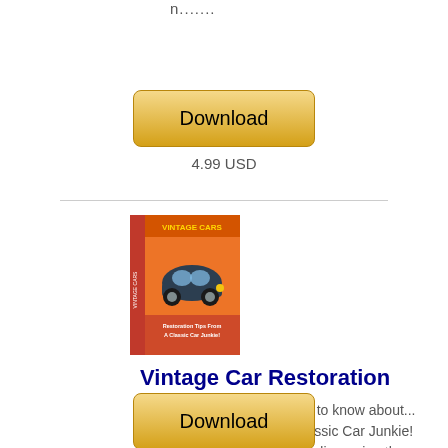n.......
Download
4.99 USD
[Figure (illustration): Book cover for Vintage Car Restoration showing a classic car on an orange/red background with title text]
Vintage Car Restoration
Everything you ever wanted to know about... Restoration Tips From A Classic Car Junkie! Dear Friend, We have been discussing the restoration of...
Download